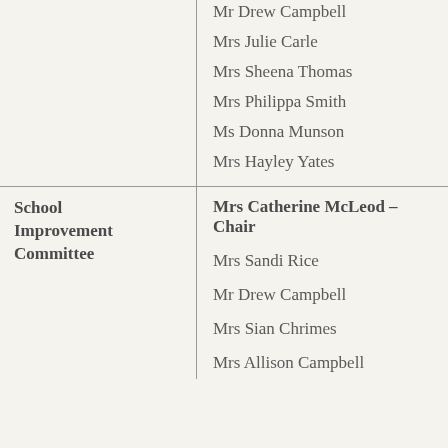| Committee | Members |
| --- | --- |
|  | Mr Drew Campbell
Mrs Julie Carle
Mrs Sheena Thomas
Mrs Philippa Smith
Ms Donna Munson
Mrs Hayley Yates |
| School Improvement Committee | Mrs Catherine McLeod – Chair
Mrs Sandi Rice
Mr Drew Campbell
Mrs Sian Chrimes
Mrs Allison ... |